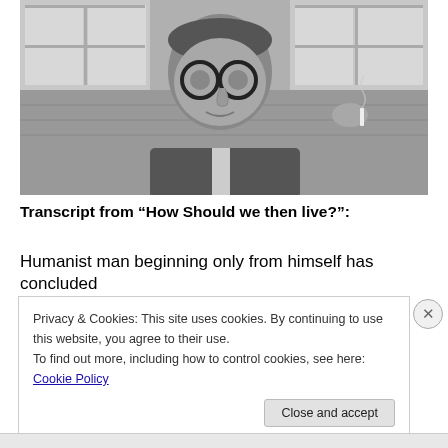[Figure (photo): Black and white photograph of a middle-aged man with round glasses, wearing a suit, holding a cigarette, seated in front of windows with a wood-paneled wall behind him.]
Transcript from “How Should we then live?”:
Humanist man beginning only from himself has concluded
Privacy & Cookies: This site uses cookies. By continuing to use this website, you agree to their use.
To find out more, including how to control cookies, see here: Cookie Policy
Close and accept